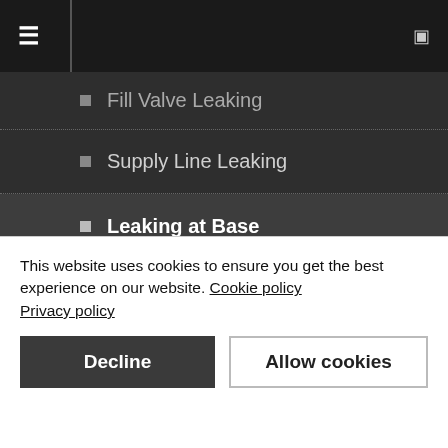Navigation menu header bar
Fill Valve Leaking
Supply Line Leaking
Leaking at Base
Toilet Tank Problems
Toilet Base Problems
Installing a Toilet
Removing Toilets
Toilet Supply Lines
This website uses cookies to ensure you get the best experience on our website. Cookie policy Privacy policy
Decline | Allow cookies